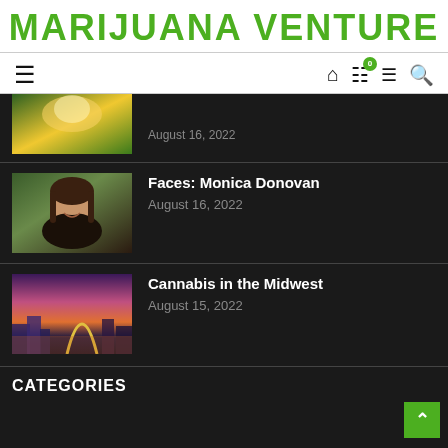MARIJUANA VENTURE
[Figure (photo): Partial cannabis plant thumbnail with sunlight, top of article card]
August 16, 2022
[Figure (photo): Woman smiling outdoors with foliage background - Monica Donovan]
Faces: Monica Donovan
August 16, 2022
[Figure (photo): Aerial city view at dusk with arch structure - Cannabis in the Midwest]
Cannabis in the Midwest
August 15, 2022
CATEGORIES